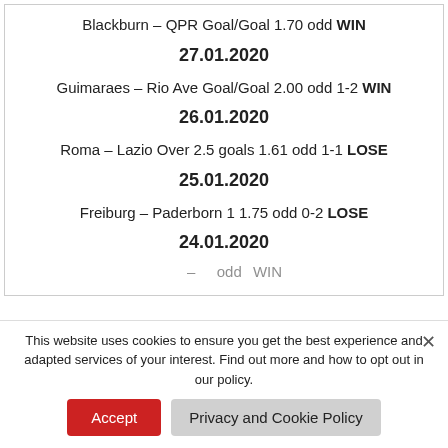Blackburn – QPR Goal/Goal 1.70 odd WIN
27.01.2020
Guimaraes – Rio Ave Goal/Goal 2.00 odd 1-2 WIN
26.01.2020
Roma – Lazio Over 2.5 goals 1.61 odd 1-1 LOSE
25.01.2020
Freiburg – Paderborn 1 1.75 odd 0-2 LOSE
24.01.2020
(partial line cut off)
This website uses cookies to ensure you get the best experience and adapted services of your interest. Find out more and how to opt out in our policy.
Accept | Privacy and Cookie Policy